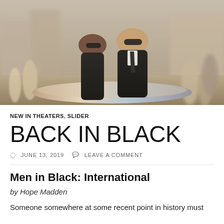[Figure (photo): Two actors in black suits and sunglasses riding what appears to be a sleek vehicle through a crowded marketplace street. Scene from Men in Black: International.]
NEW IN THEATERS, SLIDER
BACK IN BLACK
JUNE 13, 2019  LEAVE A COMMENT
Men in Black: International
by Hope Madden
Someone somewhere at some recent point in history must